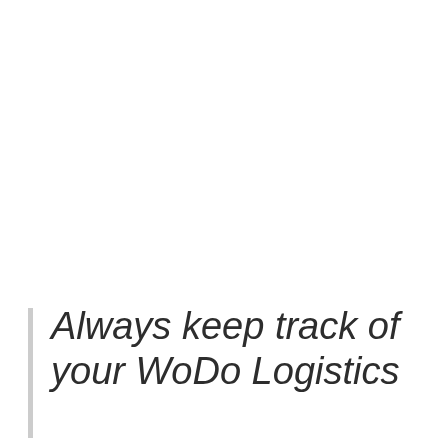Always keep track of your WoDo Logistics